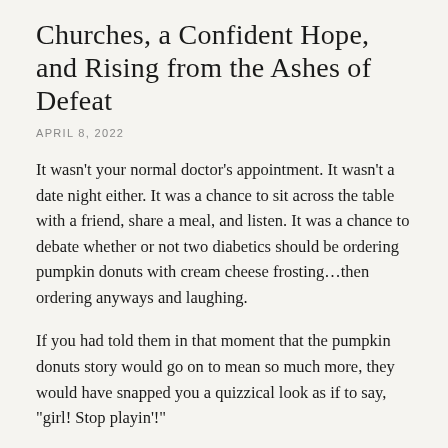Churches, a Confident Hope, and Rising from the Ashes of Defeat
APRIL 8, 2022
It wasn't your normal doctor's appointment. It wasn't a date night either. It was a chance to sit across the table with a friend, share a meal, and listen. It was a chance to debate whether or not two diabetics should be ordering pumpkin donuts with cream cheese frosting...then ordering anyways and laughing.
If you had told them in that moment that the pumpkin donuts story would go on to mean so much more, they would have snapped you a quizzical look as if to say, "girl! Stop playin'!"